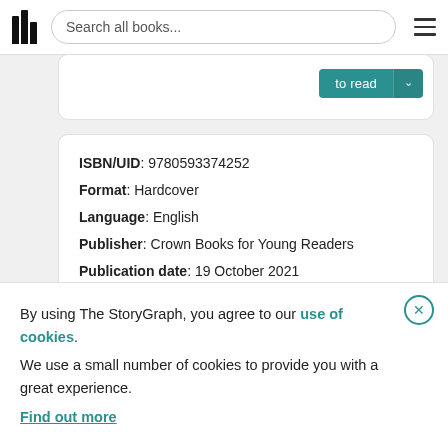Search all books...
to read
ISBN/UID: 9780593374252
Format: Hardcover
Language: English
Publisher: Crown Books for Young Readers
Publication date: 19 October 2021
A Kind of Spark
By using The StoryGraph, you agree to our use of cookies.
We use a small number of cookies to provide you with a great experience.
Find out more